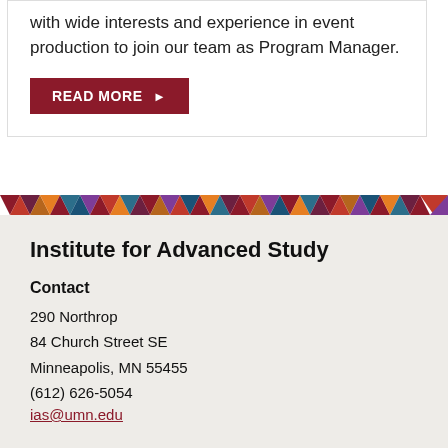with wide interests and experience in event production to join our team as Program Manager.
READ MORE ▶
[Figure (illustration): Decorative geometric colorful zigzag/chevron band separator]
Institute for Advanced Study
Contact
290 Northrop
84 Church Street SE
Minneapolis, MN 55455
(612) 626-5054
ias@umn.edu